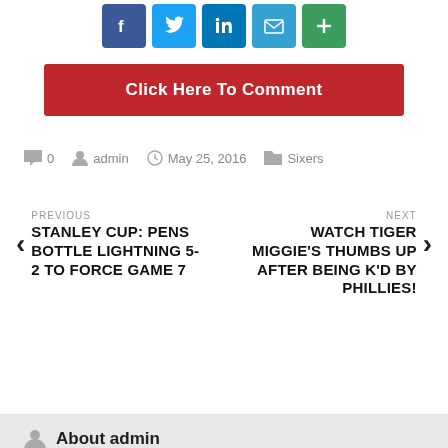[Figure (other): Social media share icons: Facebook, Twitter, LinkedIn, Email, Plus]
Click Here To Comment
0  admin  May 25, 2016  Sixers
PREVIOUS
STANLEY CUP: PENS BOTTLE LIGHTNING 5-2 TO FORCE GAME 7
NEXT
WATCH TIGER MIGGIE'S THUMBS UP AFTER BEING K'D BY PHILLIES!
About admin
ADMIN
Related Posts